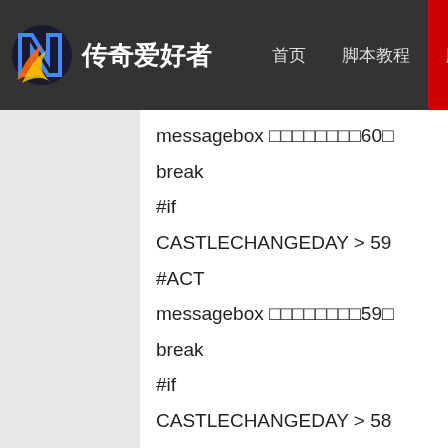传奇爱好者 | 首页 | 脚本教程 | 脚本大全 | 地图教程 | 爱好者
messagebox □□□□□□□□60□
break
#if
CASTLECHANGEDAY > 59
#ACT
messagebox □□□□□□□□59□
break
#if
CASTLECHANGEDAY > 58
#ACT
messagebox □□□□□□□□58□
break
#if